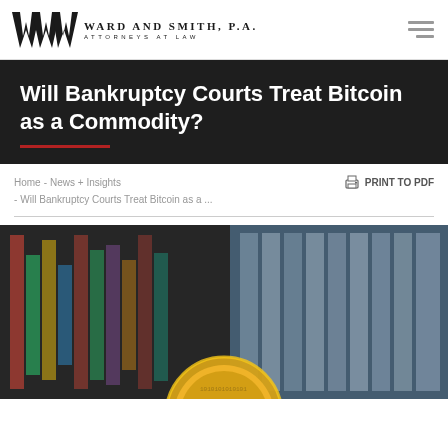Ward and Smith, P.A. Attorneys at Law
Will Bankruptcy Courts Treat Bitcoin as a Commodity?
Home - News + Insights - Will Bankruptcy Courts Treat Bitcoin as a ...
PRINT TO PDF
[Figure (photo): Photograph of a gold Bitcoin coin in the foreground with blurred colorful stacked casino chips or market ticker boards in the background.]